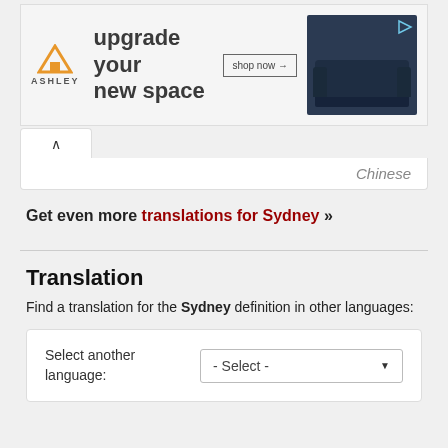[Figure (screenshot): Ashley Furniture advertisement banner with orange house logo, 'upgrade your new space' tagline, 'shop now' button, and a navy blue sofa image on the right with a play icon.]
Chinese
Get even more translations for Sydney »
Translation
Find a translation for the Sydney definition in other languages:
Select another language: - Select -